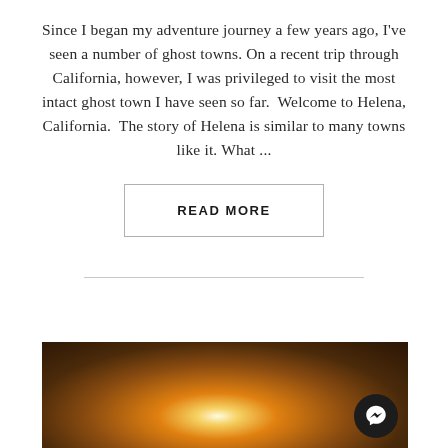Since I began my adventure journey a few years ago, I've seen a number of ghost towns. On a recent trip through California, however, I was privileged to visit the most intact ghost town I have seen so far.  Welcome to Helena, California.  The story of Helena is similar to many towns like it. What ...
READ MORE
[Figure (photo): Dark cave or tunnel interior with bright glowing light emanating from the center, illuminating rocky walls in warm orange and golden tones. A Facebook Messenger icon button is visible in the bottom-right corner.]